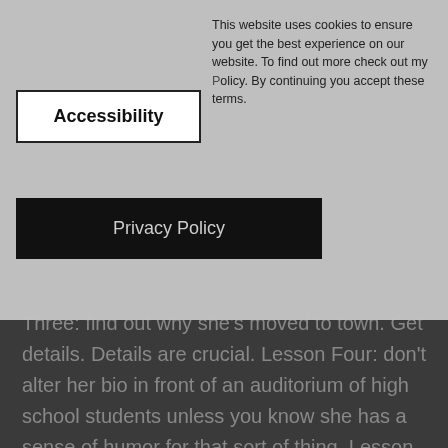This website uses cookies to ensure you get the best experience on our website. To find out more check out my [Privacy] Policy. By continuing you accept these terms.
Accessibility
Privacy Policy
Three: find out why she's moved to town. Get details. Details are crucial. Lesson Four: don't alter her bio in front of an auditorium of high school students unless you know she has a sense of humor for that sort of thing. Lesson Five: if you ignore Lesson Four, apologize instead of flirt when you're sent to the principal's office. Lesson Six: NEVER sleep with her again. Lesson Seven: pay attention to this one, it's the most important of them all. Don't fall for your one-night stand. Class dismissed.